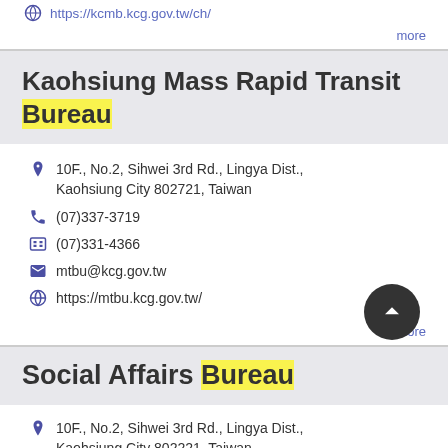https://kcmb.kcg.gov.tw/ch/
more
Kaohsiung Mass Rapid Transit Bureau
10F., No.2, Sihwei 3rd Rd., Lingya Dist., Kaohsiung City 802721, Taiwan
(07)337-3719
(07)331-4366
mtbu@kcg.gov.tw
https://mtbu.kcg.gov.tw/
more
Social Affairs Bureau
10F., No.2, Sihwei 3rd Rd., Lingya Dist., Kaohsiung City 802221, Taiwan
(07)334-4885
(07)330-3628